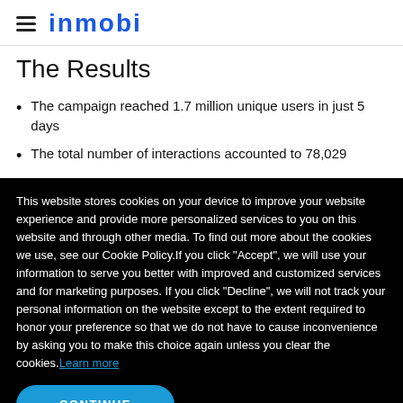InMobi
The Results
The campaign reached 1.7 million unique users in just 5 days
The total number of interactions accounted to 78,029
This website stores cookies on your device to improve your website experience and provide more personalized services to you on this website and through other media. To find out more about the cookies we use, see our Cookie Policy.If you click "Accept", we will use your information to serve you better with improved and customized services and for marketing purposes. If you click "Decline", we will not track your personal information on the website except to the extent required to honor your preference so that we do not have to cause inconvenience by asking you to make this choice again unless you clear the cookies.Learn more
CONTINUE